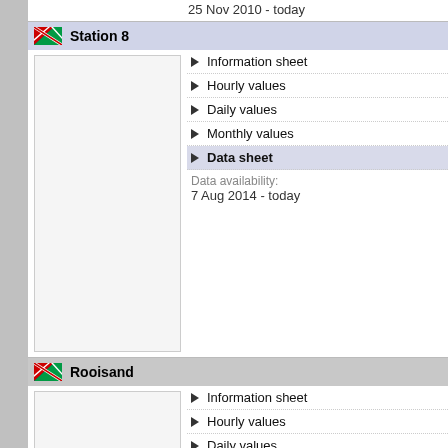25 Nov 2010 - today
Station 8
Information sheet
Hourly values
Daily values
Monthly values
Data sheet
Data availability:
7 Aug 2014 - today
Rooisand
Information sheet
Hourly values
Daily values
Monthly values
Data sheet
Data availability:
24 Mar 2011 - 24 Jul 2020
Lephepe
Information sheet
Hourly values
Daily values
Monthly values
Data sheet